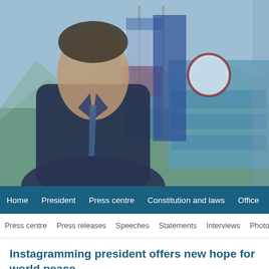[Figure (photo): Official presidential photo showing a man in a dark suit and tie standing in front of flags (Slovenian and EU flags) with a mountainous background and an official seal/banner visible on the right side.]
Home   President   Press centre   Constitution and laws   Office   Brdo B
Press centre   Press releases   Speeches   Statements   Interviews   Photos
Instagramming president offers new hope for world peace